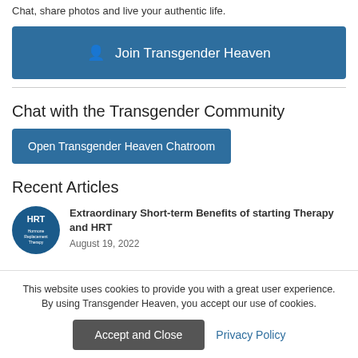Chat, share photos and live your authentic life.
Join Transgender Heaven
Chat with the Transgender Community
Open Transgender Heaven Chatroom
Recent Articles
[Figure (logo): HRT Hormone Replacement Therapy circular logo in blue]
Extraordinary Short-term Benefits of starting Therapy and HRT
August 19, 2022
This website uses cookies to provide you with a great user experience. By using Transgender Heaven, you accept our use of cookies.
Accept and Close
Privacy Policy